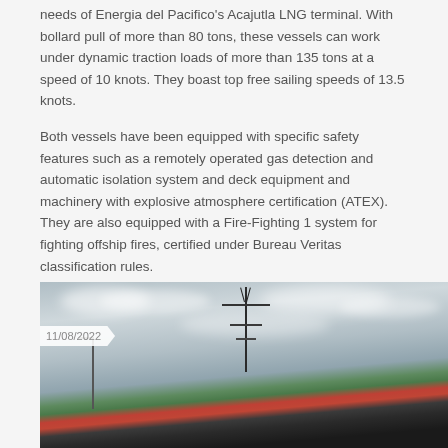needs of Energia del Pacifico's Acajutla LNG terminal. With bollard pull of more than 80 tons, these vessels can work under dynamic traction loads of more than 135 tons at a speed of 10 knots. They boast top free sailing speeds of 13.5 knots.
Both vessels have been equipped with specific safety features such as a remotely operated gas detection and automatic isolation system and deck equipment and machinery with explosive atmosphere certification (ATEX). They are also equipped with a Fire-Fighting 1 system for fighting offship fires, certified under Bureau Veritas classification rules.
Each vessel has two CAT 3516C 2350 kW engines and Kongsberg US255 FP azimuth thrusters.
Related posts
[Figure (photo): Photo of a tugboat/vessel viewed from the front, showing the vessel's mast with antennas and equipment, with the bow visible in the foreground against a cloudy sky. A lamp post is visible to the left. Date badge shows 11/08/2022.]